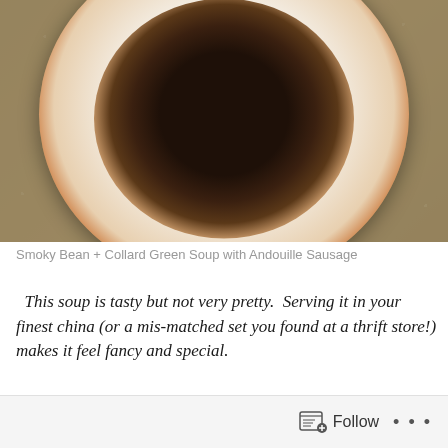[Figure (photo): Overhead view of Smoky Bean and Collard Green Soup with Andouille Sausage served in a vintage floral china bowl with gold rim, placed on a larger matching plate, set on a white lace tablecloth]
Smoky Bean + Collard Green Soup with Andouille Sausage
This soup is tasty but not very pretty.  Serving it in your finest china (or a mis-matched set you found at a thrift store!) makes it feel fancy and special.
Follow ...